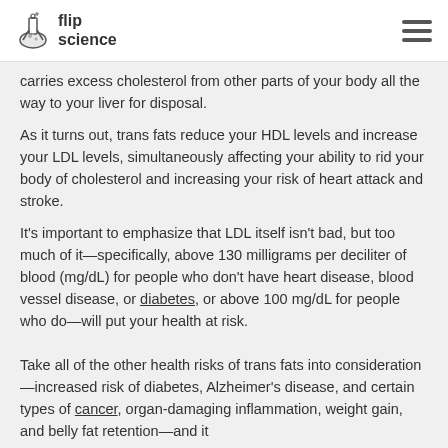flip science
carries excess cholesterol from other parts of your body all the way to your liver for disposal.
As it turns out, trans fats reduce your HDL levels and increase your LDL levels, simultaneously affecting your ability to rid your body of cholesterol and increasing your risk of heart attack and stroke.
It's important to emphasize that LDL itself isn't bad, but too much of it—specifically, above 130 milligrams per deciliter of blood (mg/dL) for people who don't have heart disease, blood vessel disease, or diabetes, or above 100 mg/dL for people who do—will put your health at risk.
Take all of the other health risks of trans fats into consideration—increased risk of diabetes, Alzheimer's disease, and certain types of cancer, organ-damaging inflammation, weight gain, and belly fat retention—and it